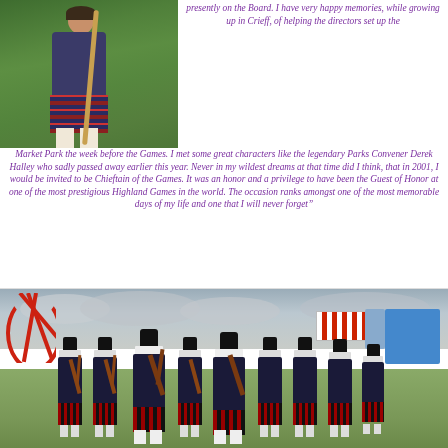[Figure (photo): A person in Highland dress holding a staff or pole, photographed outdoors with green netting/fence in the background.]
presently on the Board. I have very happy memories, while growing up in Crieff, of helping the directors set up the Market Park the week before the Games. I met some great characters like the legendary Parks Convener Derek Halley who sadly passed away earlier this year. Never in my wildest dreams at that time did I think, that in 2001, I would be invited to be Chieftain of the Games. It was an honor and a privilege to have been the Guest of Honor at one of the most prestigious Highland Games in the world. The occasion ranks amongst one of the most memorable days of my life and one that I will never forget"
Ewan McGregor
[Figure (photo): A group of bagpipers in traditional Scottish Highland dress (black uniforms with red accents) marching or standing at a Highland Games event. There is a red fairground structure on the left, a striped tent and blue building in the background, and a cloudy sky overhead.]